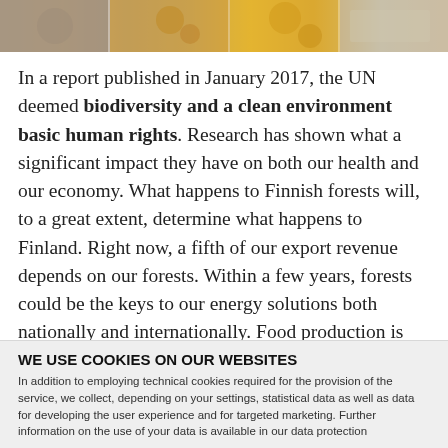[Figure (photo): A horizontal strip of nature/food photos showing various textures including what appears to be mushrooms, orange/yellow spices or fungi, and light-colored grains or seeds.]
In a report published in January 2017, the UN deemed biodiversity and a clean environment basic human rights. Research has shown what a significant impact they have on both our health and our economy. What happens to Finnish forests will, to a great extent, determine what happens to Finland. Right now, a fifth of our export revenue depends on our forests. Within a few years, forests could be the keys to our energy solutions both nationally and internationally. Food production is also entirely reliant on ecological processes; for instance, one fifth of the people in the world derive their protein mainly from fish.
WE USE COOKIES ON OUR WEBSITES
In addition to employing technical cookies required for the provision of the service, we collect, depending on your settings, statistical data as well as data for developing the user experience and for targeted marketing. Further information on the use of your data is available in our data protection